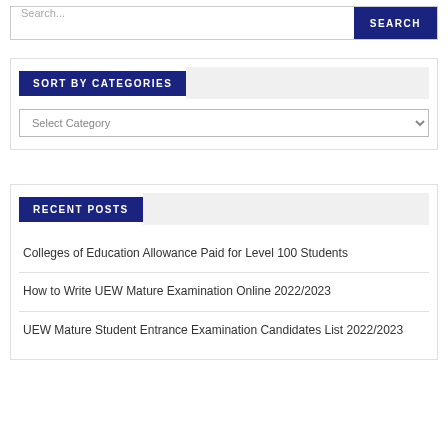Search...
SORT BY CATEGORIES
Select Category
RECENT POSTS
Colleges of Education Allowance Paid for Level 100 Students
How to Write UEW Mature Examination Online 2022/2023
UEW Mature Student Entrance Examination Candidates List 2022/2023